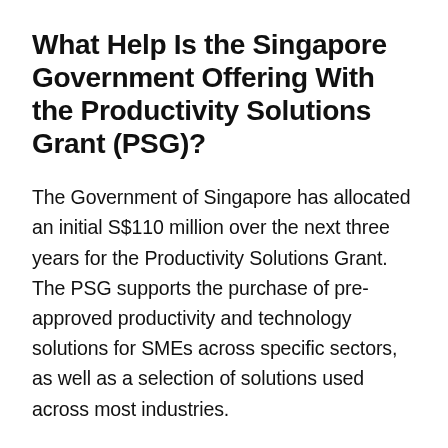What Help Is the Singapore Government Offering With the Productivity Solutions Grant (PSG)?
The Government of Singapore has allocated an initial S$110 million over the next three years for the Productivity Solutions Grant. The PSG supports the purchase of pre-approved productivity and technology solutions for SMEs across specific sectors, as well as a selection of solutions used across most industries.